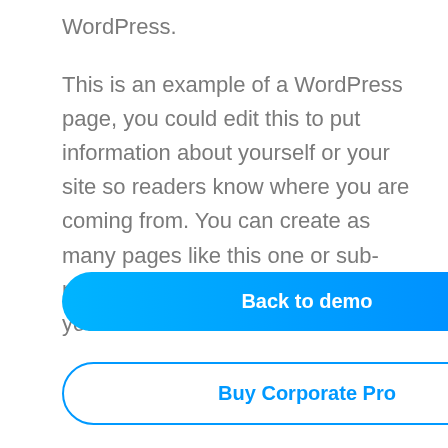WordPress.

This is an example of a WordPress page, you could edit this to put information about yourself or your site so readers know where you are coming from. You can create as many pages like this one or sub-pages as you like and manage all of your content inside of WordPress.
Back to demo
Buy Corporate Pro